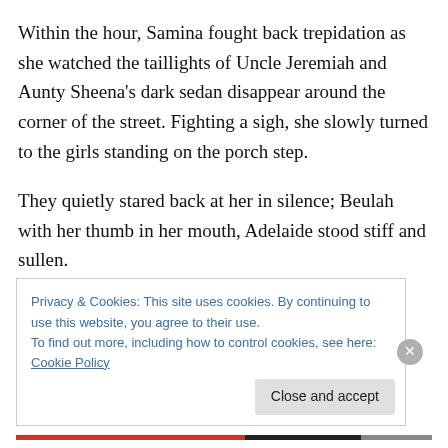Within the hour, Samina fought back trepidation as she watched the taillights of Uncle Jeremiah and Aunty Sheena’s dark sedan disappear around the corner of the street. Fighting a sigh, she slowly turned to the girls standing on the porch step.
They quietly stared back at her in silence; Beulah with her thumb in her mouth, Adelaide stood stiff and sullen.
Tossing a silent prayer to the evening sky, Samina walked up the driveway to meet them. “Have you eaten dinner?”
Privacy & Cookies: This site uses cookies. By continuing to use this website, you agree to their use.
To find out more, including how to control cookies, see here: Cookie Policy